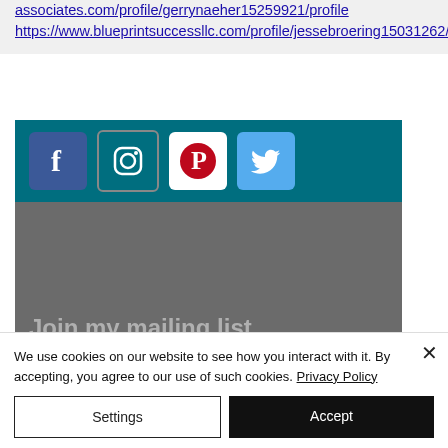associates.com/profile/gerrynaeher15259921/profile
https://www.blueprintsuccessllc.com/profile/jessebroering15031262/profile
[Figure (infographic): Social media icon bar with Facebook, Instagram, Pinterest, and Twitter icons on a teal background, followed by a dark gray section with text 'Join my mailing list']
We use cookies on our website to see how you interact with it. By accepting, you agree to our use of such cookies. Privacy Policy
Settings
Accept